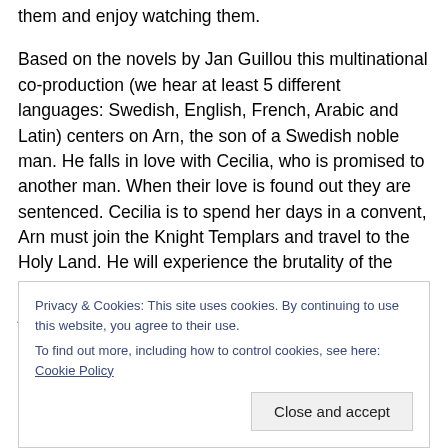them and enjoy watching them.

Based on the novels by Jan Guillou this multinational co-production (we hear at least 5 different languages: Swedish, English, French, Arabic and Latin) centers on Arn, the son of a Swedish noble man. He falls in love with Cecilia, who is promised to another man. When their love is found out they are sentenced. Cecilia is to spend her days in a convent, Arn must join the Knight Templars and travel to the Holy Land. He will experience the brutality of the Crusades but still remain true to himself and stay just,
Privacy & Cookies: This site uses cookies. By continuing to use this website, you agree to their use.
To find out more, including how to control cookies, see here: Cookie Policy
Close and accept